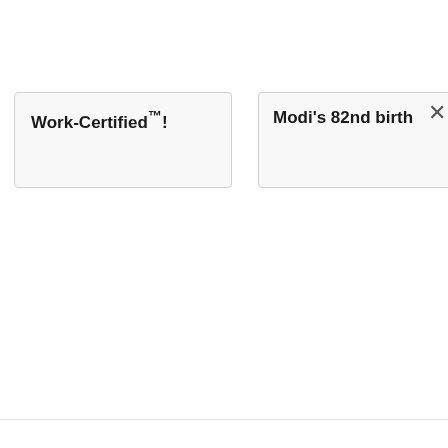Work-Certified™!
Modi's 82nd birth
[Figure (screenshot): Two browser tab cards side by side. Left card shows bold text 'Work-Certified™!' on a light gray background with border. Right card shows bold text 'Modi’s 82nd birth' with an X close button on the far right.]